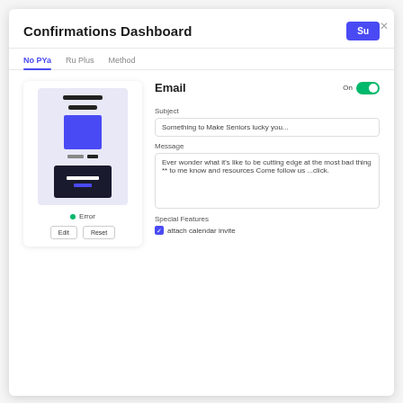Confirmations Dashboard
Save
No PYa   Ru Plus   Method
Email
[Figure (screenshot): Email template preview card showing a stylized email layout with dark header block and colored rectangles]
• Error
Edit   Reset
Subject
Something to Make Seniors lucky you...
Message
Ever wonder what it's like to be cutting edge at the most bad thing ** to me know and resources Come follow us ...click.
Special Features
✓ attach calendar invite